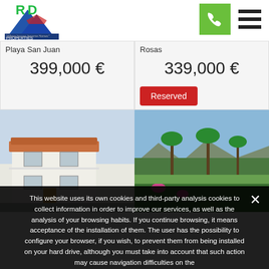[Figure (logo): RD Properties logo - 'Where houses become Homes']
[Figure (other): Green phone button icon in header]
[Figure (other): Hamburger menu button in header]
Playa San Juan
399,000 €
Rosas
339,000 €
Reserved
[Figure (photo): White Spanish villa / townhouse exterior]
[Figure (photo): Green garden/golf course landscape with palm trees and mountains]
This website uses its own cookies and third-party analysis cookies to collect information in order to improve our services, as well as the analysis of your browsing habits. If you continue browsing, it means acceptance of the installation of them. The user has the possibility to configure your browser, if you wish, to prevent them from being installed on your hard drive, although you must take into account that such action may cause navigation difficulties on the